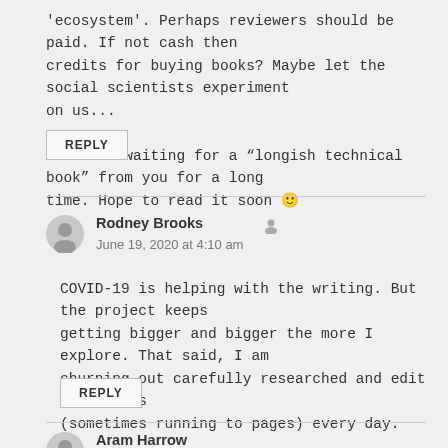'ecosystem'. Perhaps reviewers should be paid. If not cash then credits for buying books? Maybe let the social scientists experiment on us...
PS. Been waiting for a “longish technical book” from you for a long time. Hope to read it soon 🙂
REPLY
Rodney Brooks
June 19, 2020 at 4:10 am
COVID-19 is helping with the writing. But the project keeps getting bigger and bigger the more I explore. That said, I am churning out carefully researched and edit paragraphs (sometimes running to pages) every day.
REPLY
Aram Harrow